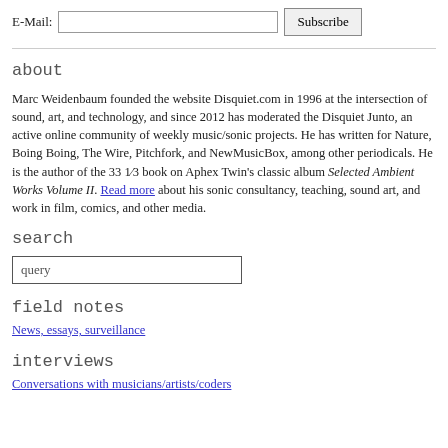E-Mail: [input] Subscribe
about
Marc Weidenbaum founded the website Disquiet.com in 1996 at the intersection of sound, art, and technology, and since 2012 has moderated the Disquiet Junto, an active online community of weekly music/sonic projects. He has written for Nature, Boing Boing, The Wire, Pitchfork, and NewMusicBox, among other periodicals. He is the author of the 33 1⁄3 book on Aphex Twin's classic album Selected Ambient Works Volume II. Read more about his sonic consultancy, teaching, sound art, and work in film, comics, and other media.
search
query
field notes
News, essays, surveillance
interviews
Conversations with musicians/artists/coders